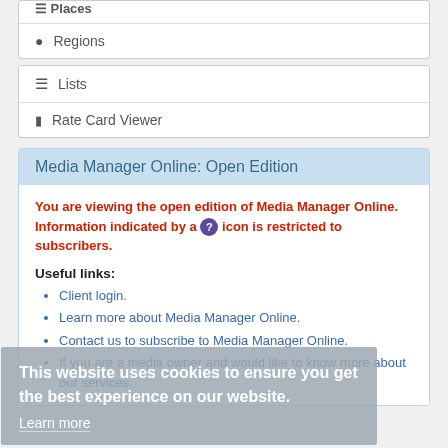Regions
Lists
Rate Card Viewer
Media Manager Online: Open Edition
You are viewing the open edition of Media Manager Online. Information indicated by a ? icon is restricted to subscribers.
Useful links:
Client login.
Learn more about Media Manager Online.
Contact us to subscribe to Media Manager Online.
If you are a media owner and would like to know more about our services.
This website uses cookies to ensure you get the best experience on our website.
Learn more
Drum.co.za
Main  Brand  Content  Target & Performance